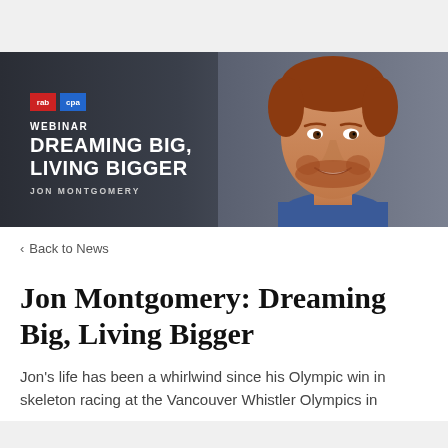[Figure (photo): Webinar promotional banner with dark background showing 'WEBINAR DREAMING BIG, LIVING BIGGER - JON MONTGOMERY' text on the left with two small colored logo squares (red and blue), and a professional headshot photo of a red-haired smiling man on the right side.]
< Back to News
Jon Montgomery: Dreaming Big, Living Bigger
Jon's life has been a whirlwind since his Olympic win in skeleton racing at the Vancouver Whistler Olympics in